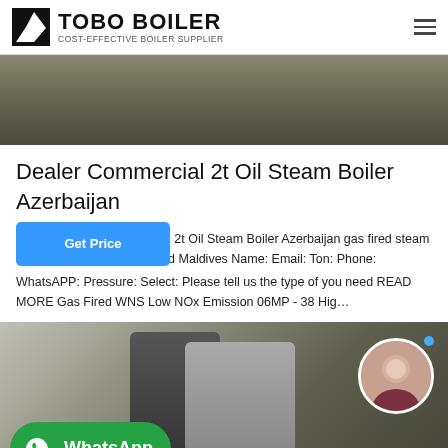TOBO BOILER — COST-EFFECTIVE BOILER SUPPLIER
[Figure (photo): Top portion of industrial boiler installation photo]
Dealer Commercial 2t Oil Steam Boiler Azerbaijan
ercial 2t Oil Steam Boiler Azerbaijan gas fired steam s fired Maldives Name: Email: Ton: Phone: WhatsAPP: Pressure: Select: Please tell us the type of you need READ MORE Gas Fired WNS Low NOx Emission 06MP - 38 Hig…
[Figure (photo): Industrial boiler unit inside a factory building with WhatsApp badge and customer service avatar overlay]